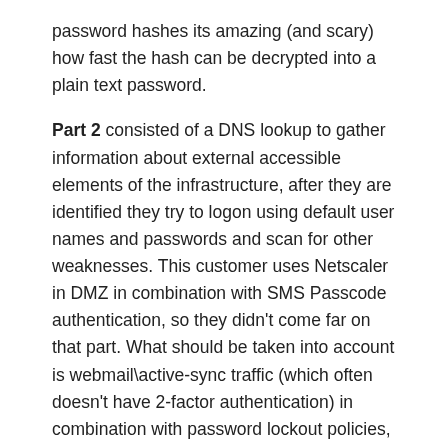password hashes its amazing (and scary) how fast the hash can be decrypted into a plain text password.
Part 2 consisted of a DNS lookup to gather information about external accessible elements of the infrastructure, after they are identified they try to logon using default user names and passwords and scan for other weaknesses. This customer uses Netscaler in DMZ in combination with SMS Passcode authentication, so they didn't come far on that part. What should be taken into account is webmail\active-sync traffic (which often doesn't have 2-factor authentication) in combination with password lockout policies, a hacker can perform a denial of service by trying lots of different usernames and wrong password to intentional block users in AD (especially admin accounts).